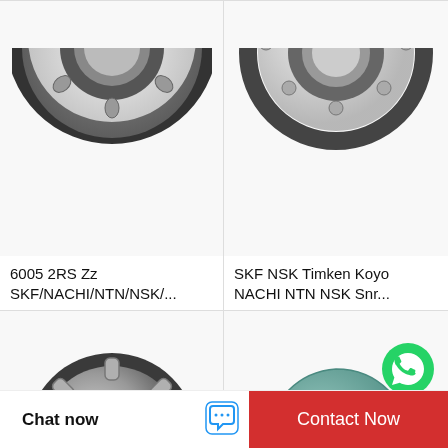[Figure (photo): Partial view of a metal ball bearing (tapered roller bearing), top half visible, silver/steel color]
6005 2RS Zz SKF/NACHI/NTN/NSK/...
[Figure (photo): Partial view of a metal ball bearing, silver steel color, top portion visible]
SKF NSK Timken Koyo NACHI NTN NSK Snr...
[Figure (photo): Zys deep groove ball bearing, full round bearing shown, steel color with dark outer ring]
Zys Deep Groove Ball Bearing 6005 2RS...
[Figure (photo): Stainless steel bearing housing/pillow block unit, teal/green color cast iron, with WhatsApp Online overlay icon]
Stainless Steel 6005 Z/ZZ/Open/2RS/2RZ D...
Chat now
Contact Now